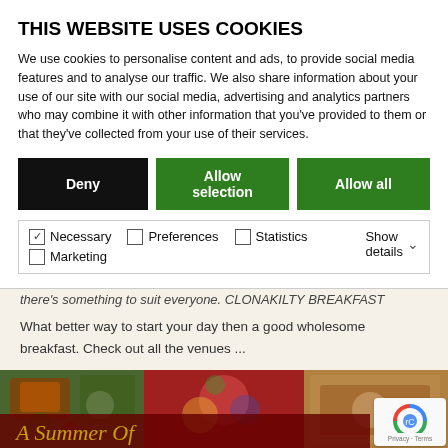THIS WEBSITE USES COOKIES
We use cookies to personalise content and ads, to provide social media features and to analyse our traffic. We also share information about your use of our site with our social media, advertising and analytics partners who may combine it with other information that you've provided to them or that they've collected from your use of their services.
Deny | Allow selection | Allow all
Necessary  Preferences  Statistics  Marketing  Show details
there's something to suit everyone. CLONAKILTY BREAKFAST What better way to start your day then a good wholesome breakfast. Check out all the venues ...
Read More »
[Figure (photo): Food collage image strip showing colorful dishes and people dining, with a dark red overlay and title 'A Summer Of']